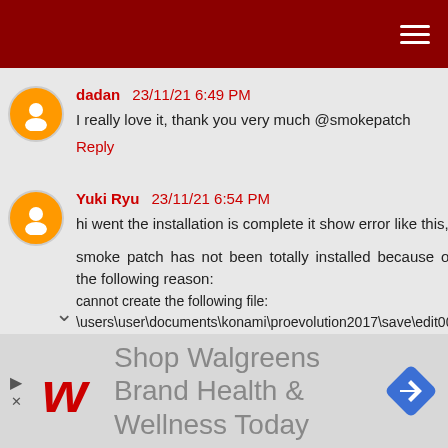Navigation header bar
dadan 23/11/21 6:49 PM
I really love it, thank you very much @smokepatch
Reply
Yuki Ryu 23/11/21 6:54 PM
hi went the installation is complete it show error like this,

smoke patch has not been totally installed because of the following reason:
cannot create the following file:
\users\user\documents\konami\proevolution2017\save\edit00
[Figure (screenshot): Advertisement banner: Shop Walgreens Brand Health & Wellness Today with Walgreens logo and navigation icon]